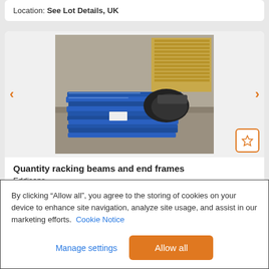Location: See Lot Details, UK
[Figure (photo): Photo of a quantity of blue racking beams and end frames stacked on a warehouse floor, with cardboard and other items visible in background.]
Quantity racking beams and end frames
Eddisons
Timed
By clicking “Allow all”, you agree to the storing of cookies on your device to enhance site navigation, analyze site usage, and assist in our marketing efforts. Cookie Notice